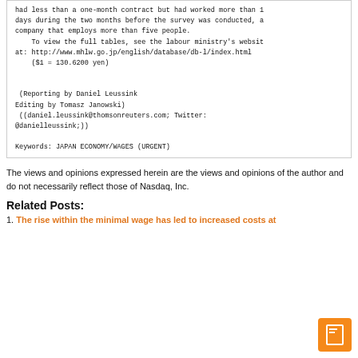had less than a one-month contract but had worked more than 18 days during the two months before the survey was conducted, at a company that employs more than five people.
    To view the full tables, see the labour ministry's website at: http://www.mhlw.go.jp/english/database/db-l/index.html
    ($1 = 130.6200 yen)

 (Reporting by Daniel Leussink
Editing by Tomasz Janowski)
 ((daniel.leussink@thomsonreuters.com; Twitter:
@danielleussink;))

Keywords: JAPAN ECONOMY/WAGES (URGENT)
The views and opinions expressed herein are the views and opinions of the author and do not necessarily reflect those of Nasdaq, Inc.
Related Posts:
1. The rise within the minimal wage has led to increased costs at...